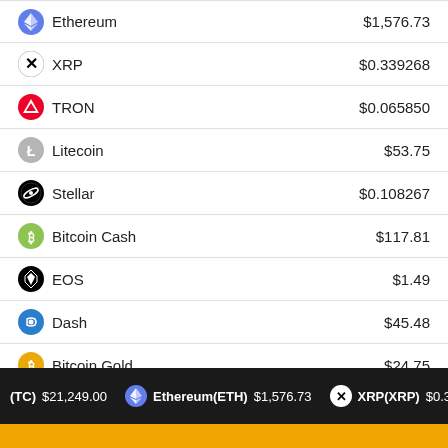Ethereum $1,576.73
XRP $0.339268
TRON $0.065850
Litecoin $53.75
Stellar $0.108267
Bitcoin Cash $117.81
EOS $1.49
Dash $45.48
Bitcoin Gold $24.75
(BTC) $21,249.00 Ethereum(ETH) $1,576.73 XRP(XRP) $0.339